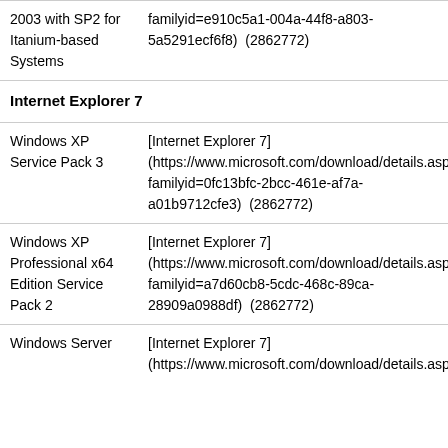| Platform | Download |
| --- | --- |
| 2003 with SP2 for Itanium-based Systems | familyid=e910c5a1-004a-44f8-a803-5a5291ecf6f8) (2862772) |
| Internet Explorer 7 |  |
| Windows XP Service Pack 3 | [Internet Explorer 7] (https://www.microsoft.com/download/details.aspx?familyid=0fc13bfc-2bcc-461e-af7a-a01b9712cfe3) (2862772) |
| Windows XP Professional x64 Edition Service Pack 2 | [Internet Explorer 7] (https://www.microsoft.com/download/details.aspx?familyid=a7d60cb8-5cdc-468c-89ca-28909a0988df) (2862772) |
| Windows Server | [Internet Explorer 7] (https://www.microsoft.com/download/details.aspx? |